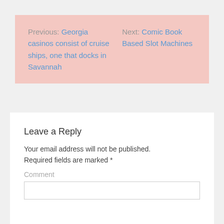Previous: Georgia casinos consist of cruise ships, one that docks in Savannah    Next: Comic Book Based Slot Machines
Leave a Reply
Your email address will not be published. Required fields are marked *
Comment